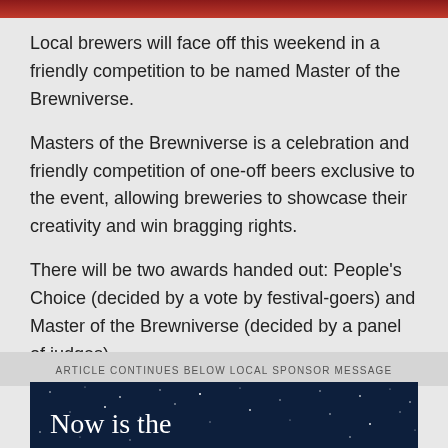[Figure (other): Dark red/maroon decorative header bar at top of page]
Local brewers will face off this weekend in a friendly competition to be named Master of the Brewniverse.
Masters of the Brewniverse is a celebration and friendly competition of one-off beers exclusive to the event, allowing breweries to showcase their creativity and win bragging rights.
There will be two awards handed out: People's Choice (decided by a vote by festival-goers) and Master of the Brewniverse (decided by a panel of judges).
ARTICLE CONTINUES BELOW LOCAL SPONSOR MESSAGE
[Figure (photo): Dark blue night sky with stars background. Large white serif text reads 'Now is the']